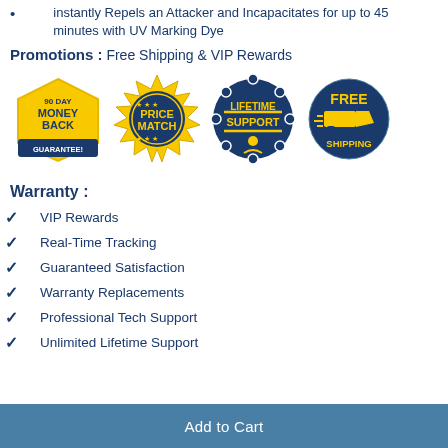instantly Repels an Attacker and Incapacitates for up to 45 minutes with UV Marking Dye
Promotions : Free Shipping & VIP Rewards
[Figure (infographic): Four badges: 90 Day Money Back Guarantee (yellow pentagon), Price Match (gold seal), Lifetime Support (dark blue scalloped circle), Free Shipping (blue circle with truck)]
Warranty :
VIP Rewards
Real-Time Tracking
Guaranteed Satisfaction
Warranty Replacements
Professional Tech Support
Unlimited Lifetime Support
Add to Cart